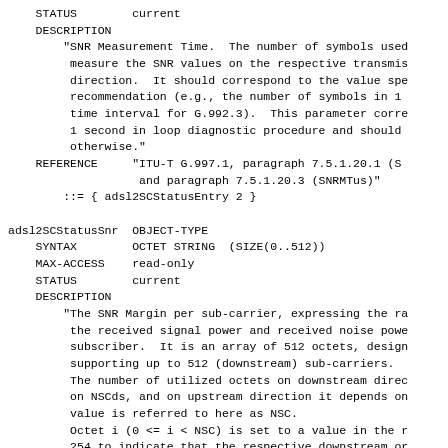STATUS        current
    DESCRIPTION
        "SNR Measurement Time.  The number of symbols used
         measure the SNR values on the respective transmis
         direction.  It should correspond to the value spe
         recommendation (e.g., the number of symbols in 1
         time interval for G.992.3).  This parameter corre
         1 second in loop diagnostic procedure and should
         otherwise."
    REFERENCE    "ITU-T G.997.1, paragraph 7.5.1.20.1 (S
                  and paragraph 7.5.1.20.3 (SNRMTus)"
        ::= { adsl2SCStatusEntry 2 }

adsl2SCStatusSnr  OBJECT-TYPE
    SYNTAX       OCTET STRING  (SIZE(0..512))
    MAX-ACCESS   read-only
    STATUS       current
    DESCRIPTION
        "The SNR Margin per sub-carrier, expressing the ra
         the received signal power and received noise powe
         subscriber.  It is an array of 512 octets, design
         supporting up to 512 (downstream) sub-carriers.
         The number of utilized octets on downstream direc
         on NSCds, and on upstream direction it depends on
         value is referred to here as NSC.
         Octet i (0 <= i < NSC) is set to a value in the r
         254 to indicate that the respective downstream or
         carrier i has SNR of: (-32 + Adsl2SubcarrierSnr(i
         (i.e., -32 to 95dB).
         The special value 255 means that no measurement c
         for the subcarrier because it is out of the DCE